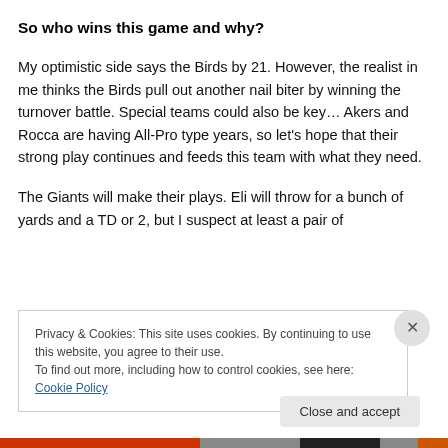So who wins this game and why?
My optimistic side says the Birds by 21. However, the realist in me thinks the Birds pull out another nail biter by winning the turnover battle. Special teams could also be key… Akers and Rocca are having All-Pro type years, so let's hope that their strong play continues and feeds this team with what they need.
The Giants will make their plays. Eli will throw for a bunch of yards and a TD or 2, but I suspect at least a pair of
Privacy & Cookies: This site uses cookies. By continuing to use this website, you agree to their use.
To find out more, including how to control cookies, see here: Cookie Policy